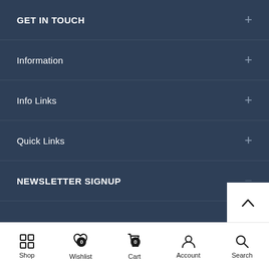GET IN TOUCH
Information
Info Links
Quick Links
NEWSLETTER SIGNUP
Shop  Wishlist 0  Cart 0  Account  Search